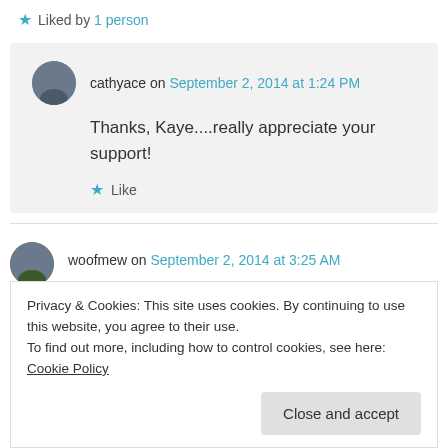★ Liked by 1 person
cathyace on September 2, 2014 at 1:24 PM
Thanks, Kaye....really appreciate your support!
★ Like
woofmew on September 2, 2014 at 3:25 AM
Privacy & Cookies: This site uses cookies. By continuing to use this website, you agree to their use.
To find out more, including how to control cookies, see here: Cookie Policy
Close and accept